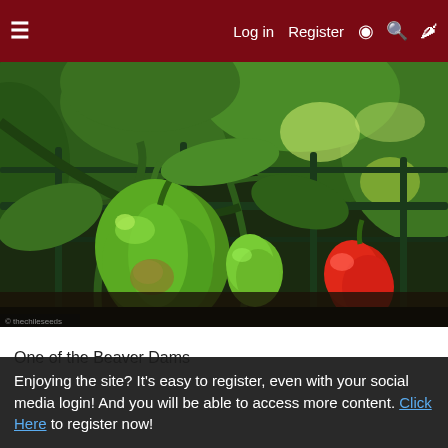≡   Log in   Register   ◑   🔍   🌶
[Figure (photo): Close-up photo of green and red peppers growing on plants supported by a metal cage structure in a garden]
One of the Beaver Dams
Enjoying the site? It's easy to register, even with your social media login! And you will be able to access more content. Click Here to register now!